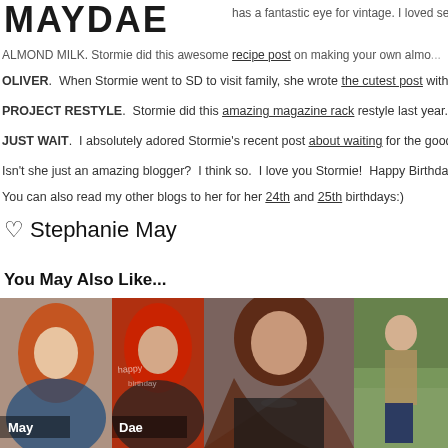MAYDAE
has a fantastic eye for vintage. I loved seeing he...
ALMOND MILK. Stormie did this awesome recipe post on making your own almon...
OLIVER. When Stormie went to SD to visit family, she wrote the cutest post with the...
PROJECT RESTYLE. Stormie did this amazing magazine rack restyle last year.
JUST WAIT. I absolutely adored Stormie's recent post about waiting for the good thi...
Isn't she just an amazing blogger? I think so. I love you Stormie! Happy Birthday!
You can also read my other blogs to her for her 24th and 25th birthdays:)
♡ Stephanie May
You May Also Like...
[Figure (photo): Four photos side by side: girl with red/orange hair, girl with bright red hair (labeled 'May' and 'Dae'), girl with dark auburn hair, young man in plaid shirt outdoors]